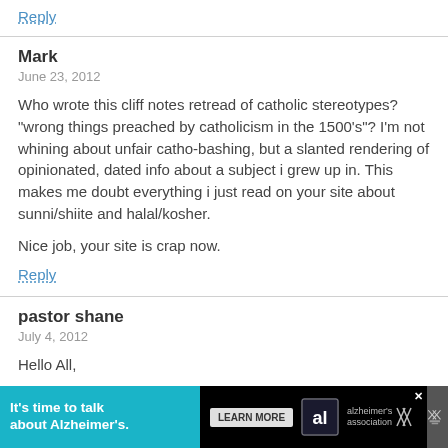Reply
Mark
June 23, 2012
Who wrote this cliff notes retread of catholic stereotypes? "wrong things preached by catholicism in the 1500's"? I'm not whining about unfair catho-bashing, but a slanted rendering of opinionated, dated info about a subject i grew up in. This makes me doubt everything i just read on your site about sunni/shiite and halal/kosher.

Nice job, your site is crap now.
Reply
pastor shane
July 4, 2012
Hello All,
[Figure (other): Advertisement banner: 'It's time to talk about Alzheimer's.' with a Learn More button and Alzheimer's Association logo on a dark/teal background]